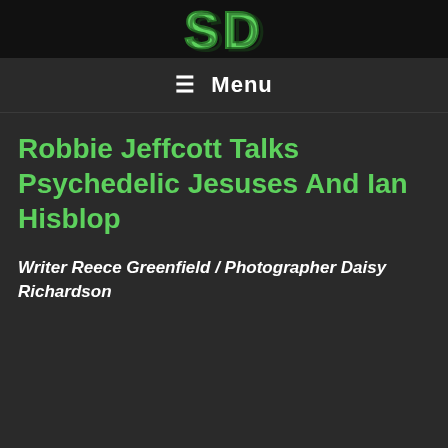[Figure (logo): Website logo banner showing stylized '3D' letters in green metallic style on dark background]
≡ Menu
Robbie Jeffcott Talks Psychedelic Jesuses And Ian Hisblop
Writer Reece Greenfield / Photographer Daisy Richardson